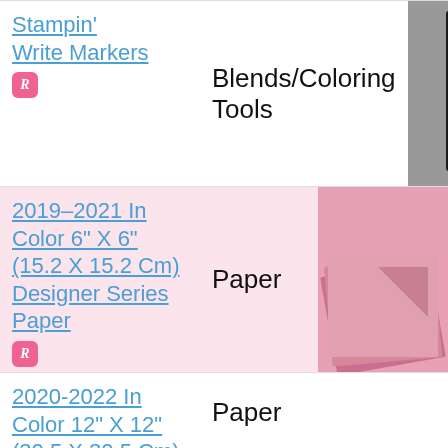Stampin' Write Markers
Blends/Coloring Tools
[Figure (photo): Photo of Stampin' Write Markers product packaging on grey background]
2019–2021 In Color 6" X 6" (15.2 X 15.2 Cm) Designer Series Paper
Paper
[Figure (photo): Photo of pink/mauve 6x6 designer series paper stacked sheets]
2020-2022 In Color 12" X 12" (30.5 X 30.5 Cm) Cardstock Assortment
Paper